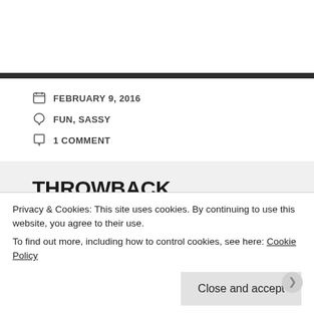FEBRUARY 9, 2016
FUN, SASSY
1 COMMENT
THROWBACK THURSDAY: STRING QUARTET NO. 12 IN F MAJOR, OP. 96, "AMERICAN" ANTONIN
Privacy & Cookies: This site uses cookies. By continuing to use this website, you agree to their use.
To find out more, including how to control cookies, see here: Cookie Policy
Close and accept